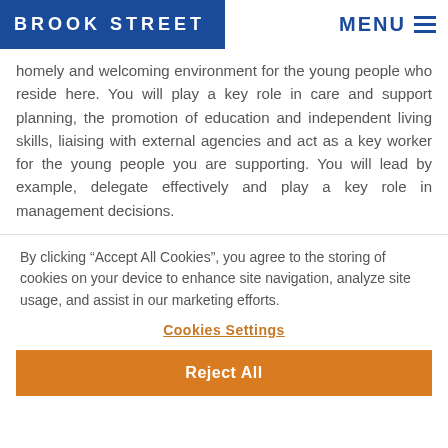BROOK STREET | MENU
homely and welcoming environment for the young people who reside here. You will play a key role in care and support planning, the promotion of education and independent living skills, liaising with external agencies and act as a key worker for the young people you are supporting. You will lead by example, delegate effectively and play a key role in management decisions.
By clicking “Accept All Cookies”, you agree to the storing of cookies on your device to enhance site navigation, analyze site usage, and assist in our marketing efforts.
Cookies Settings
Reject All